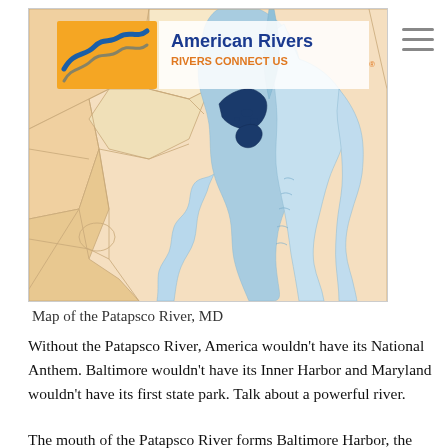[Figure (map): American Rivers map of the Patapsco River, MD. Shows the Chesapeake Bay watershed with the Patapsco River highlighted in dark blue/navy at its mouth near Baltimore Harbor. Surrounding counties shown in light peach/tan. American Rivers logo in top left corner with blue wave on orange background. Tagline reads 'RIVERS CONNECT US'.]
Map of the Patapsco River, MD
Without the Patapsco River, America wouldn't have its National Anthem. Baltimore wouldn't have its Inner Harbor and Maryland wouldn't have its first state park. Talk about a powerful river.
The mouth of the Patapsco River forms Baltimore Harbor, the site of the Battle of Fort McHenry,